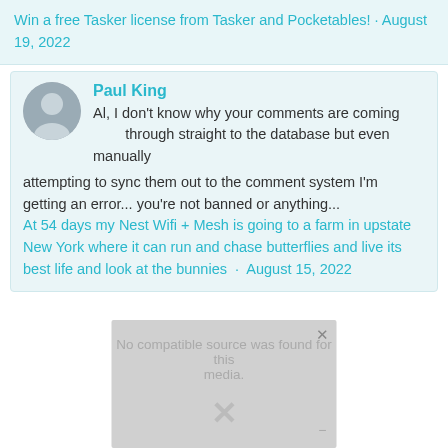Win a free Tasker license from Tasker and Pocketables! · August 19, 2022
Paul King
Al, I don't know why your comments are coming through straight to the database but even manually attempting to sync them out to the comment system I'm getting an error... you're not banned or anything...
At 54 days my Nest Wifi + Mesh is going to a farm in upstate New York where it can run and chase butterflies and live its best life and look at the bunnies · August 15, 2022
[Figure (screenshot): Media player placeholder showing 'No compatible source was found for this media.' with a close button and X icon]